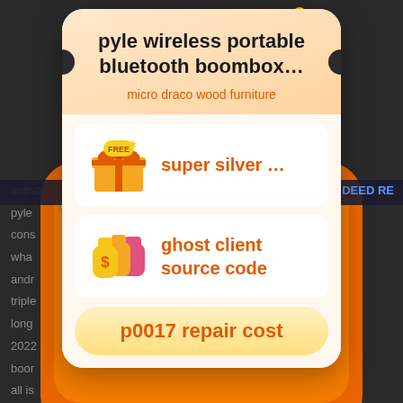[Figure (screenshot): Mobile app popup/modal overlaying a webpage background. The modal has an orange-themed reward card UI showing a product title 'pyle wireless portable bluetooth boombox...' with subtitle 'micro draco wood furniture', two reward items ('super silver ...' with a free gift box icon, and 'ghost client source code' with a money bag icon), and a call-to-action button 'p0017 repair cost'. Background shows partial webpage text. Orange decorative elements and coin icons surround the modal.]